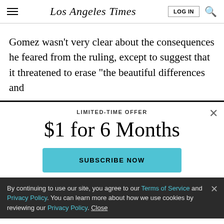Los Angeles Times
Gomez wasn't very clear about the consequences he feared from the ruling, except to suggest that it threatened to erase “the beautiful differences and
LIMITED-TIME OFFER
$1 for 6 Months
SUBSCRIBE NOW
By continuing to use our site, you agree to our Terms of Service and Privacy Policy. You can learn more about how we use cookies by reviewing our Privacy Policy. Close